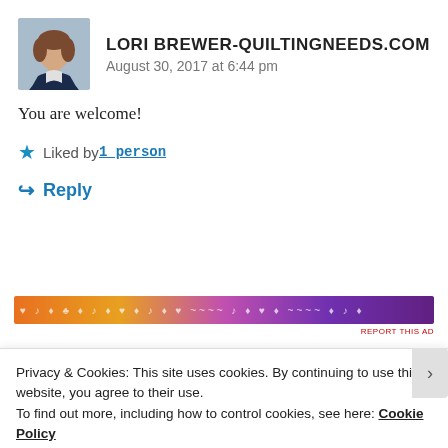[Figure (photo): Avatar photo of a woman with short brown hair wearing a dark jacket, against a light background]
LORI BREWER-QUILTINGNEEDS.COM
August 30, 2017 at 6:44 pm
You are welcome!
★ Liked by 1 person
↪ Reply
[Figure (infographic): Horizontal decorative advertisement banner with gradient from orange to purple with white decorative text/symbols overlay]
REPORT THIS AD
Privacy & Cookies: This site uses cookies. By continuing to use this website, you agree to their use.
To find out more, including how to control cookies, see here: Cookie Policy
Close and accept